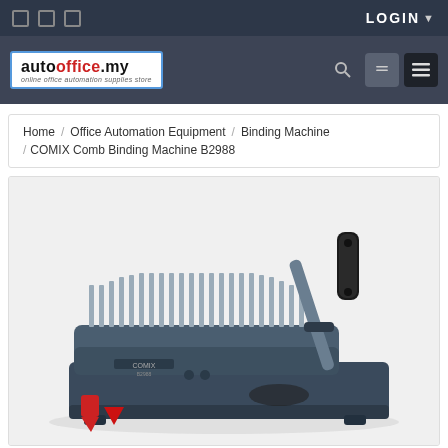LOGIN
[Figure (logo): autooffice.my logo - online office automation supplies store]
Home / Office Automation Equipment / Binding Machine / COMIX Comb Binding Machine B2988
[Figure (photo): COMIX Comb Binding Machine B2988 - a grey/blue manual comb binding machine with handle, punching teeth and red lever, photographed on white background]